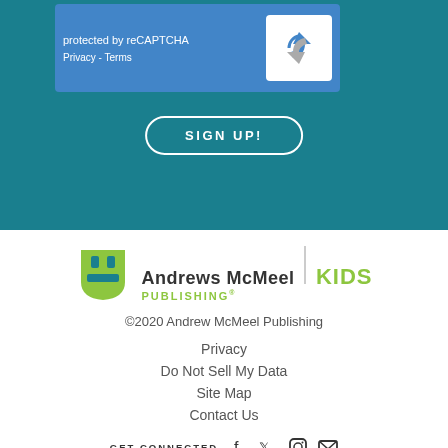[Figure (screenshot): reCAPTCHA widget area with blue background showing 'protected by reCAPTCHA' text and Privacy - Terms links, with reCAPTCHA logo on the right]
SIGN UP!
[Figure (logo): Andrews McMeel Publishing Kids logo with green shield icon and company name]
©2020 Andrew McMeel Publishing
Privacy
Do Not Sell My Data
Site Map
Contact Us
GET CONNECTED
[Figure (infographic): Social media icons: Facebook, Twitter, Instagram, Email]